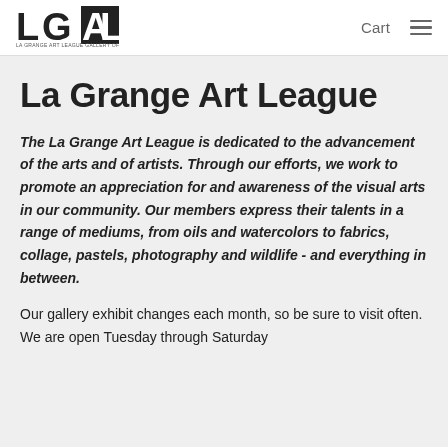[Figure (logo): LGAL logo — bold black letters L, G, A, L with a black filled square behind AL; small text below reads LA GRANGE ART LEAGUE GALLERY OF STITCH]
Cart  ≡
La Grange Art League
The La Grange Art League is dedicated to the advancement of the arts and of artists. Through our efforts, we work to promote an appreciation for and awareness of the visual arts in our community. Our members express their talents in a range of mediums, from oils and watercolors to fabrics, collage, pastels, photography and wildlife - and everything in between.
Our gallery exhibit changes each month, so be sure to visit often. We are open Tuesday through Saturday